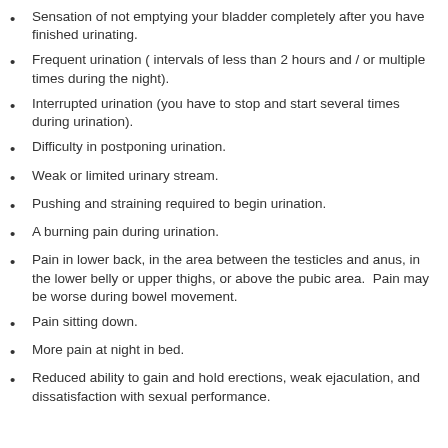Sensation of not emptying your bladder completely after you have finished urinating.
Frequent urination ( intervals of less than 2 hours and / or multiple times during the night).
Interrupted urination (you have to stop and start several times during urination).
Difficulty in postponing urination.
Weak or limited urinary stream.
Pushing and straining required to begin urination.
A burning pain during urination.
Pain in lower back, in the area between the testicles and anus, in the lower belly or upper thighs, or above the pubic area.  Pain may be worse during bowel movement.
Pain sitting down.
More pain at night in bed.
Reduced ability to gain and hold erections, weak ejaculation, and dissatisfaction with sexual performance.